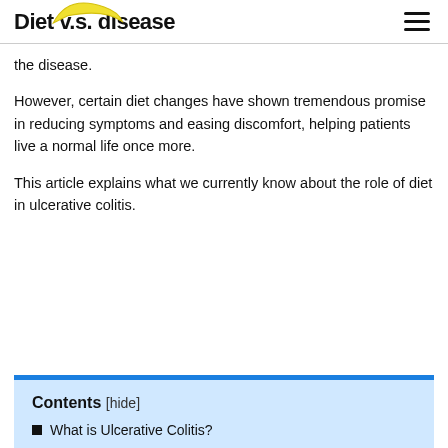Diet v.s. disease
the disease.
However, certain diet changes have shown tremendous promise in reducing symptoms and easing discomfort, helping patients live a normal life once more.
This article explains what we currently know about the role of diet in ulcerative colitis.
Contents [hide]
What is Ulcerative Colitis?